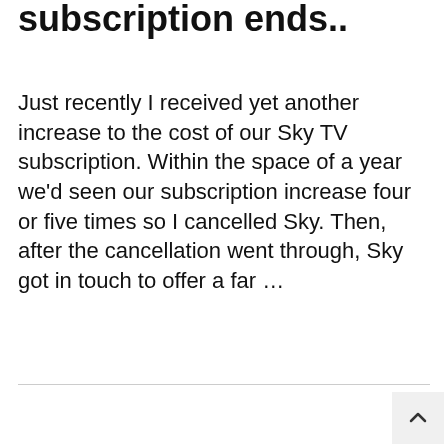subscription ends..
Just recently I received yet another increase to the cost of our Sky TV subscription. Within the space of a year we'd seen our subscription increase four or five times so I cancelled Sky. Then, after the cancellation went through, Sky got in touch to offer a far …